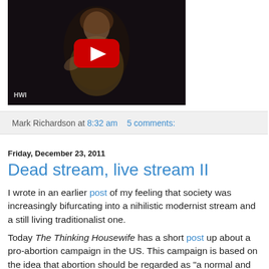[Figure (screenshot): YouTube video thumbnail showing a woman in a yellow dress against a dark background, with YouTube play button overlay and HWI watermark in lower left]
Mark Richardson at 8:32 am   5 comments:
Friday, December 23, 2011
Dead stream, live stream II
I wrote in an earlier post of my feeling that society was increasingly bifurcating into a nihilistic modernist stream and a still living traditionalist one.
Today The Thinking Housewife has a short post up about a pro-abortion campaign in the US. This campaign is based on the idea that abortion should be regarded as "a normal and